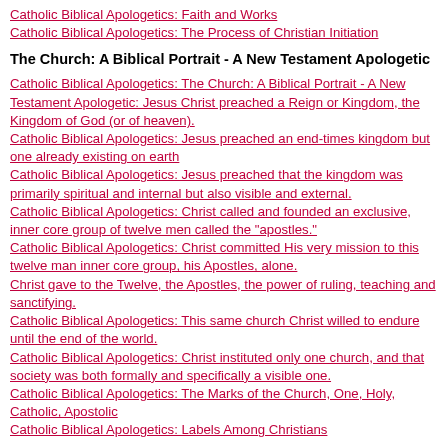Catholic Biblical Apologetics: Faith and Works
Catholic Biblical Apologetics: The Process of Christian Initiation
The Church: A Biblical Portrait - A New Testament Apologetic
Catholic Biblical Apologetics: The Church: A Biblical Portrait - A New Testament Apologetic: Jesus Christ preached a Reign or Kingdom, the Kingdom of God (or of heaven).
Catholic Biblical Apologetics: Jesus preached an end-times kingdom but one already existing on earth
Catholic Biblical Apologetics: Jesus preached that the kingdom was primarily spiritual and internal but also visible and external.
Catholic Biblical Apologetics: Christ called and founded an exclusive, inner core group of twelve men called the "apostles."
Catholic Biblical Apologetics: Christ committed His very mission to this twelve man inner core group, his Apostles, alone.
Christ gave to the Twelve, the Apostles, the power of ruling, teaching and sanctifying.
Catholic Biblical Apologetics: This same church Christ willed to endure until the end of the world.
Catholic Biblical Apologetics: Christ instituted only one church, and that society was both formally and specifically a visible one.
Catholic Biblical Apologetics: The Marks of the Church, One, Holy, Catholic, Apostolic
Catholic Biblical Apologetics: Labels Among Christians